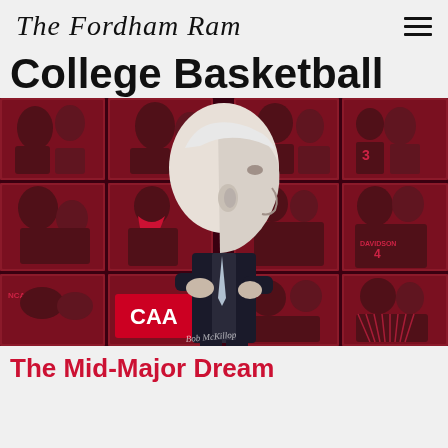The Fordham Ram
College Basketball
[Figure (photo): Collage of red-tinted basketball photos arranged in a 4-column grid with a central black-and-white profile image of an elderly male coach (Bob McKillop) standing with arms crossed, wearing a suit. Photos show various basketball moments, players, and coaching scenes. Bottom center tile shows 'CAA' text. A signature reading 'Bob McKillop' is visible on the central image.]
The Mid-Major Dream